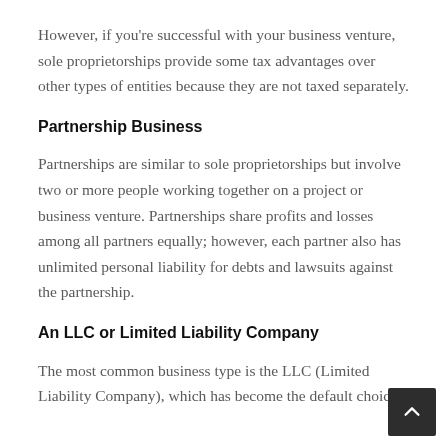However, if you're successful with your business venture, sole proprietorships provide some tax advantages over other types of entities because they are not taxed separately.
Partnership Business
Partnerships are similar to sole proprietorships but involve two or more people working together on a project or business venture. Partnerships share profits and losses among all partners equally; however, each partner also has unlimited personal liability for debts and lawsuits against the partnership.
An LLC or Limited Liability Company
The most common business type is the LLC (Limited Liability Company), which has become the default choice